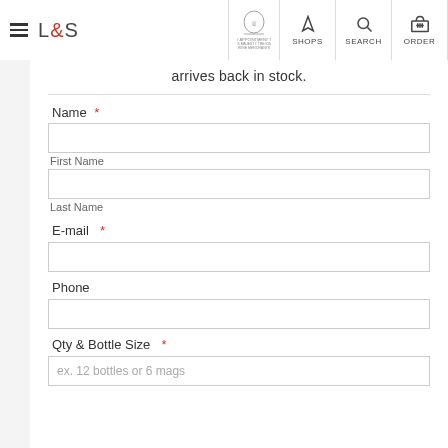L&S — Shops, Search, Order
arrives back in stock.
Name *
First Name
Last Name
E-mail *
Phone
Qty & Bottle Size *
ex. 12 bottles or 6 mags